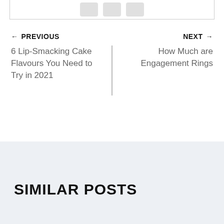[Figure (screenshot): Partial top border of a content box with three share/action buttons (rounded rectangles) visible at the top center]
← PREVIOUS
NEXT →
6 Lip-Smacking Cake Flavours You Need to Try in 2021
How Much are Engagement Rings
SIMILAR POSTS